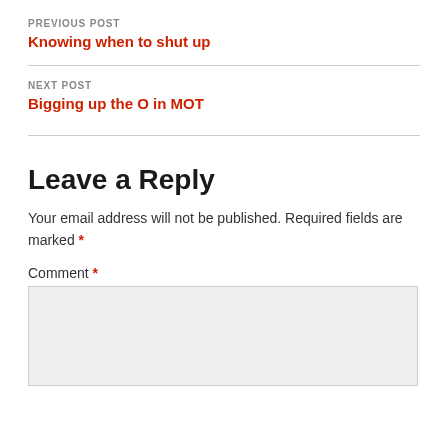PREVIOUS POST
Knowing when to shut up
NEXT POST
Bigging up the O in MOT
Leave a Reply
Your email address will not be published. Required fields are marked *
Comment *